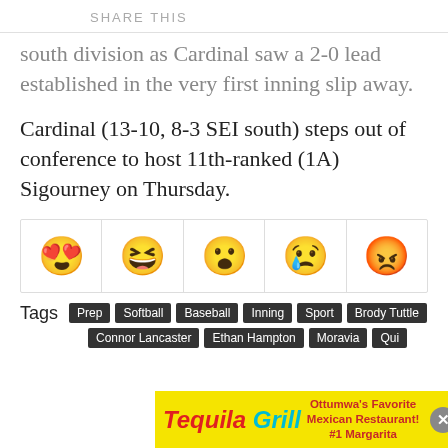SHARE THIS
south division as Cardinal saw a 2-0 lead established in the very first inning slip away.
Cardinal (13-10, 8-3 SEI south) steps out of conference to host 11th-ranked (1A) Sigourney on Thursday.
[Figure (infographic): Row of five emoji reaction icons: heart-eyes, laughing, surprised, crying, angry]
Tags  Prep  Softball  Baseball  Inning  Sport  Brody Tuttle  Connor Lancaster  Ethan Hampton  Moravia  Qui
[Figure (infographic): Tequila Grill advertisement banner: yellow background with red 'Tequila' and teal 'Grill' text, 'Ottumwa's Favorite Mexican Restaurant! #1 Margarita']